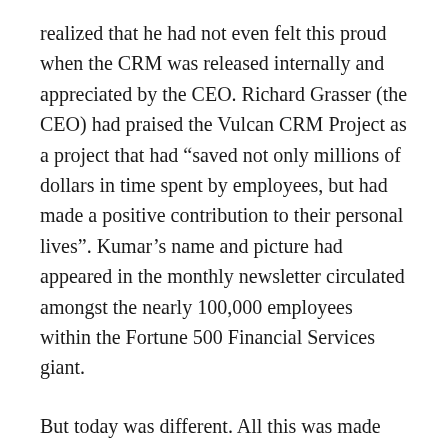realized that he had not even felt this proud when the CRM was released internally and appreciated by the CEO. Richard Grasser (the CEO) had praised the Vulcan CRM Project as a project that had “saved not only millions of dollars in time spent by employees, but had made a positive contribution to their personal lives”. Kumar’s name and picture had appeared in the monthly newsletter circulated amongst the nearly 100,000 employees within the Fortune 500 Financial Services giant.
But today was different. All this was made possible by some truly “out-of-the-box” thinking by the new CIO, Amy Cho. She had realized that their organization was larger than most software services and product companies the world over. They had thousands of applications and applications initiatives in the pipeline. A outsourced. She realized, that the only way to grapple with